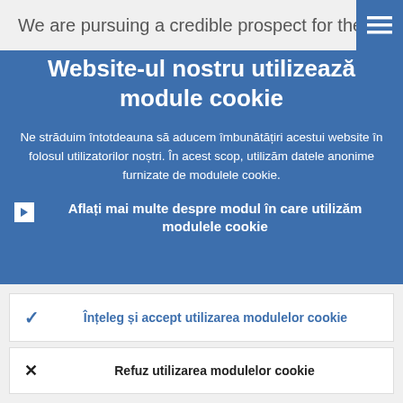We are pursuing a credible prospect for the
[Figure (screenshot): Cookie consent modal overlay on a website. Blue background modal with title 'Website-ul nostru utilizează module cookie', body text in Romanian about cookies, a link row, and two buttons: accept and refuse cookies.]
Website-ul nostru utilizează module cookie
Ne străduim întotdeauna să aducem îmbunătățiri acestui website în folosul utilizatorilor noștri. În acest scop, utilizăm datele anonime furnizate de modulele cookie.
Aflați mai multe despre modul în care utilizăm modulele cookie
Înțeleg și accept utilizarea modulelor cookie
Refuz utilizarea modulelor cookie